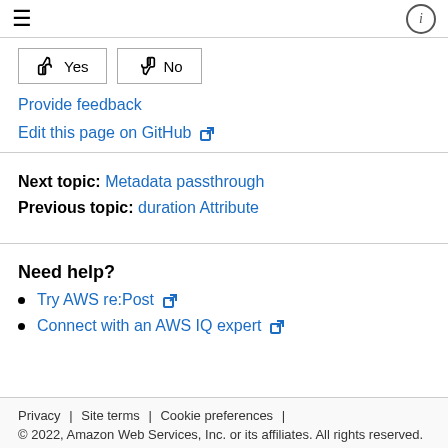≡   ⓘ
👍 Yes   👎 No
Provide feedback
Edit this page on GitHub ↗
Next topic: Metadata passthrough
Previous topic: duration Attribute
Need help?
Try AWS re:Post ↗
Connect with an AWS IQ expert ↗
Privacy | Site terms | Cookie preferences | © 2022, Amazon Web Services, Inc. or its affiliates. All rights reserved.